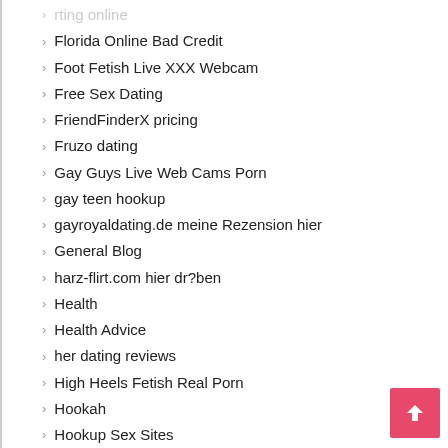rting online
Florida Online Bad Credit
Foot Fetish Live XXX Webcam
Free Sex Dating
FriendFinderX pricing
Fruzo dating
Gay Guys Live Web Cams Porn
gay teen hookup
gayroyaldating.de meine Rezension hier
General Blog
harz-flirt.com hier dr?ben
Health
Health Advice
her dating reviews
High Heels Fetish Real Porn
Hookah
Hookup Sex Sites
Hornet reviews
hot russian brides photos